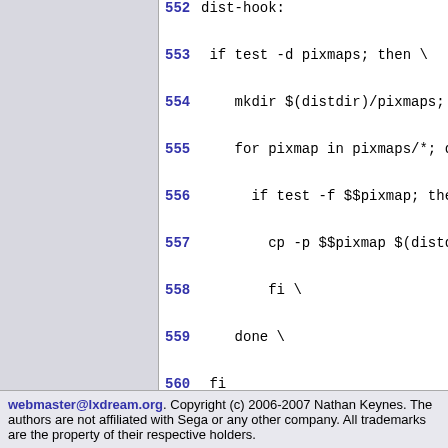552 dist-hook:
553  if test -d pixmaps; then \
554    mkdir $(distdir)/pixmaps;
555    for pixmap in pixmaps/*; d
556      if test -f $$pixmap; the
557        cp -p $$pixmap $(distd
558        fi \
559      done \
560  fi
561 # Tell versions [3.59,3.63) d
562 # Otherwise a system limit (f
563 .NOEXPORT:
webmaster@lxdream.org. Copyright (c) 2006-2007 Nathan Keynes. The authors are not affiliated with Sega or any other company. All trademarks are the property of their respective holders.